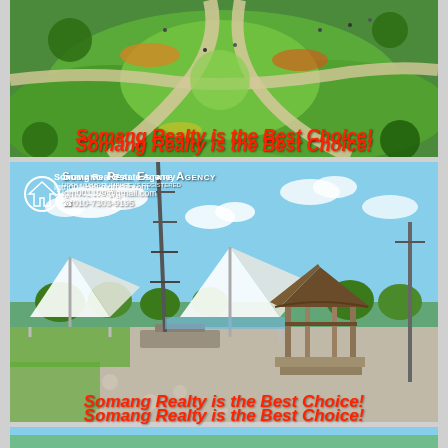[Figure (photo): Aerial view of a green park with winding paths, flower beds, lawns, and people walking]
Somang Realty is the Best Choice!
[Figure (photo): Outdoor park/riverside area with shade canopy structures, a traditional Korean pavilion, paved plaza, trees, and blue sky with clouds]
Somang Real Estate Agency
lgm001199@gmail.com
☎010-7303-9195
Somang Realty is the Best Choice!
[Figure (photo): Partial view of another park or real estate location photo (bottom strip)]